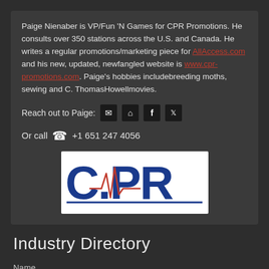Paige Nienaber is VP/Fun 'N Games for CPR Promotions. He consults over 350 stations across the U.S. and Canada. He writes a regular promotions/marketing piece for AllAccess.com and his new, updated, newfangled website is www.cpr-promotions.com. Paige's hobbies includebreeding moths, sewing and C. ThomasHowellmovies.
Reach out to Paige: [email icon] [home icon] [facebook icon] [twitter icon]
Or call +1 651 247 4056
[Figure (logo): CPR Promotions logo — bold dark blue letters C, P, R with a red EKG/heartbeat line running through them on a white background]
Industry Directory
Name